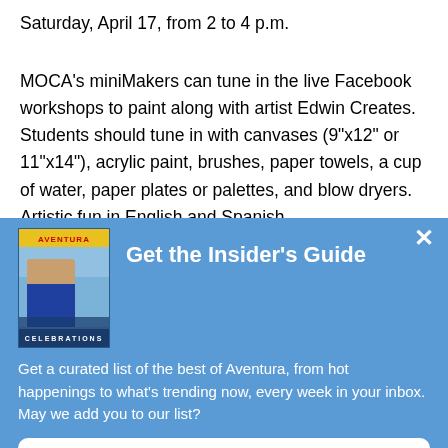Saturday, April 17, from 2 to 4 p.m.
MOCA's miniMakers can tune in the live Facebook workshops to paint along with artist Edwin Creates. Students should tune in with canvases (9"x12" or 11"x14"), acrylic paint, brushes, paper towels, a cup of water, paper plates or palettes, and blow dryers. Artistic fun in English and Spanish
[Figure (screenshot): Blue popup overlay titled 'Get the Insider's Guide' with a magazine cover image, descriptive text about Aventura newsletter, and a 'Sign Me Up!' button]
Get the Insider's Guide
Get a curated list of the best of Aventura, from hot happenings to what's trending now, every week in your inbox. May we add you to our list?
Sign Me Up!